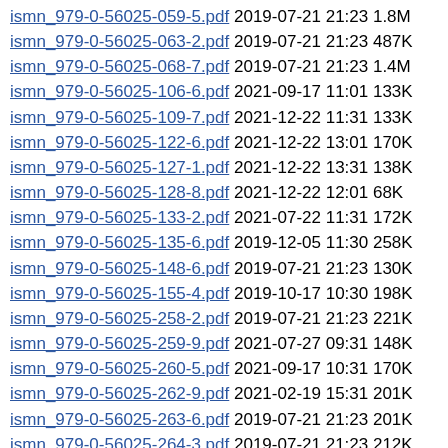ismn_979-0-56025-059-5.pdf 2019-07-21 21:23 1.8M
ismn_979-0-56025-063-2.pdf 2019-07-21 21:23 487K
ismn_979-0-56025-068-7.pdf 2019-07-21 21:23 1.4M
ismn_979-0-56025-106-6.pdf 2021-09-17 11:01 133K
ismn_979-0-56025-109-7.pdf 2021-12-22 11:31 133K
ismn_979-0-56025-122-6.pdf 2021-12-22 13:01 170K
ismn_979-0-56025-127-1.pdf 2021-12-22 13:31 138K
ismn_979-0-56025-128-8.pdf 2021-12-22 12:01 68K
ismn_979-0-56025-133-2.pdf 2021-07-22 11:31 172K
ismn_979-0-56025-135-6.pdf 2019-12-05 11:30 258K
ismn_979-0-56025-148-6.pdf 2019-07-21 21:23 130K
ismn_979-0-56025-155-4.pdf 2019-10-17 10:30 198K
ismn_979-0-56025-258-2.pdf 2019-07-21 21:23 221K
ismn_979-0-56025-259-9.pdf 2021-07-27 09:31 148K
ismn_979-0-56025-260-5.pdf 2021-09-17 10:31 170K
ismn_979-0-56025-262-9.pdf 2021-02-19 15:31 201K
ismn_979-0-56025-263-6.pdf 2019-07-21 21:23 201K
ismn_979-0-56025-264-3.pdf 2019-07-21 21:23 212K
ismn_979-0-56025-265-0.pdf 2019-07-21 21:23 225K
ismn_979-0-56025-268-1.pdf 2019-07-21 21:23 155K
ismn_979-0-56025-271-1.pdf 2019-07-21 21:23 216K